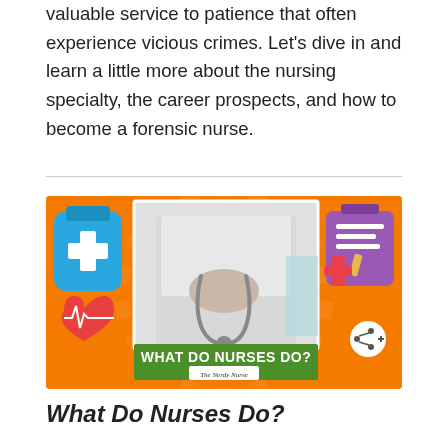valuable service to patience that often experience vicious crimes. Let's dive in and learn a little more about the nursing specialty, the career prospects, and how to become a forensic nurse.
[Figure (photo): Promotional image with orange background and sunburst design. Center shows a nurse in white coat holding a stethoscope. Left side has medical icons (medicine bottle, heart with ECG). Right side has medical clipboard icons. Green banner at bottom reads 'WHAT DO NURSES DO?' with 'The Nerdy Nurse' logo. White circular share button at bottom right.]
What Do Nurses Do?